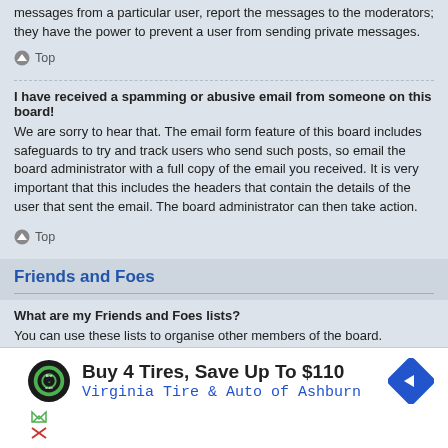messages from a particular user, report the messages to the moderators; they have the power to prevent a user from sending private messages.
Top
I have received a spamming or abusive email from someone on this board! We are sorry to hear that. The email form feature of this board includes safeguards to try and track users who send such posts, so email the board administrator with a full copy of the email you received. It is very important that this includes the headers that contain the details of the user that sent the email. The board administrator can then take action.
Top
Friends and Foes
What are my Friends and Foes lists? You can use these lists to organise other members of the board. Members added to your friends list will be listed within your User Control Panel for quick access to see their online status and to send them private messages. Subject to template support, posts from these users may also be highlighted. If you add a
[Figure (other): Advertisement for Virginia Tire & Auto of Ashburn: Buy 4 Tires, Save Up To $110]